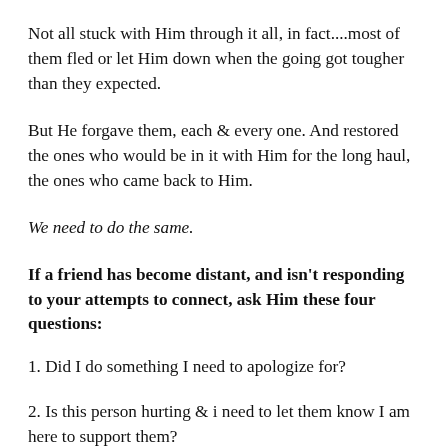Not all stuck with Him through it all, in fact....most of them fled or let Him down when the going got tougher than they expected.
But He forgave them, each & every one. And restored the ones who would be in it with Him for the long haul, the ones who came back to Him.
We need to do the same.
If a friend has become distant, and isn't responding to your attempts to connect, ask Him these four questions:
1. Did I do something I need to apologize for?
2. Is this person hurting & i need to let them know I am here to support them?